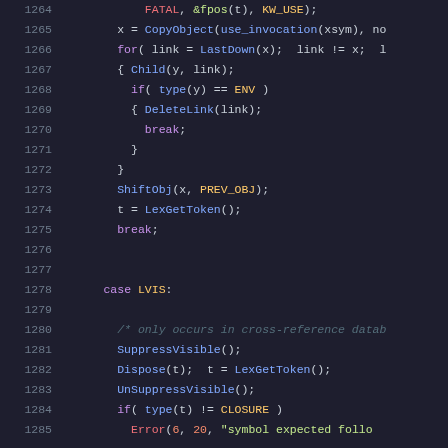[Figure (screenshot): Source code listing showing lines 1264-1285 of a C/C++ program with syntax highlighting. Dark background theme with colored tokens for keywords, functions, and comments.]